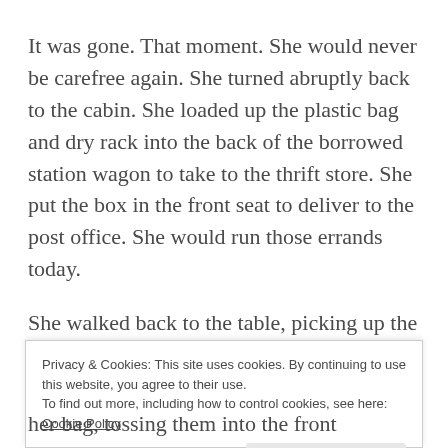It was gone. That moment. She would never be carefree again. She turned abruptly back to the cabin. She loaded up the plastic bag and dry rack into the back of the borrowed station wagon to take to the thrift store. She put the box in the front seat to deliver to the post office. She would run those errands today.
She walked back to the table, picking up the black and white photo, still face down. The leather sandals stood by the door, she still hadn't looked
Privacy & Cookies: This site uses cookies. By continuing to use this website, you agree to their use.
To find out more, including how to control cookies, see here: Cookie Policy
her bag, tossing them into the front passenger